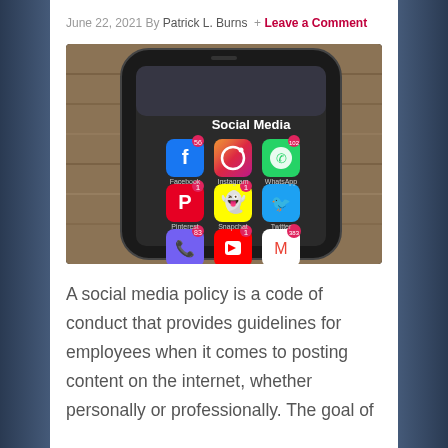June 22, 2021 By Patrick L. Burns  +  Leave a Comment
[Figure (photo): A smartphone displaying a screen labeled 'Social Media' with app icons including Facebook, Instagram, WhatsApp, Pinterest, Snapchat, Twitter, Viber, YouTube, and Gmail, lying on a wooden surface.]
A social media policy is a code of conduct that provides guidelines for employees when it comes to posting content on the internet, whether personally or professionally. The goal of